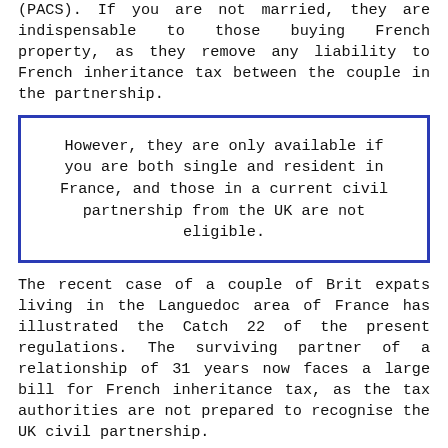(PACS). If you are not married, they are indispensable to those buying French property, as they remove any liability to French inheritance tax between the couple in the partnership.
However, they are only available if you are both single and resident in France, and those in a current civil partnership from the UK are not eligible.
The recent case of a couple of Brit expats living in the Languedoc area of France has illustrated the Catch 22 of the present regulations. The surviving partner of a relationship of 31 years now faces a large bill for French inheritance tax, as the tax authorities are not prepared to recognise the UK civil partnership.
The couple earlier applied to the French courts to enter a French civil partnership, but failed in their demand, as they were unable to bring proof of their single status. The French tax authority has now refused to grant exemption to the surviving partner for French inheritance tax, as they do not